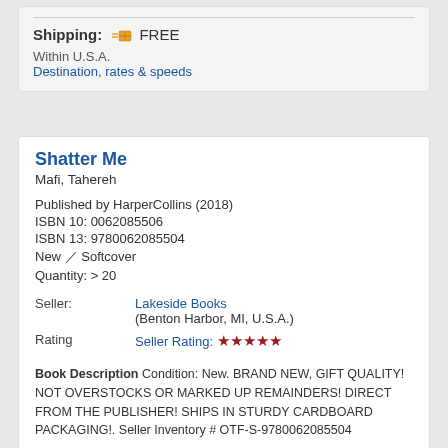Shipping: FREE
Within U.S.A.
Destination, rates & speeds
Shatter Me
Mafi, Tahereh
Published by HarperCollins (2018)
ISBN 10: 0062085506
ISBN 13: 9780062085504
New / Softcover
Quantity: > 20
Seller: Lakeside Books (Benton Harbor, MI, U.S.A.)
Rating: Seller Rating: ★★★★★
Book Description Condition: New. BRAND NEW, GIFT QUALITY! NOT OVERSTOCKS OR MARKED UP REMAINDERS! DIRECT FROM THE PUBLISHER! SHIPS IN STURDY CARDBOARD PACKAGING!. Seller Inventory # OTF-S-9780062085504